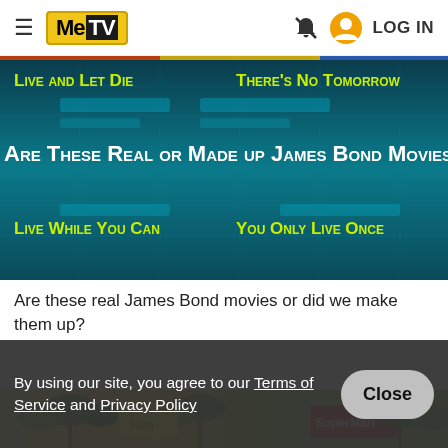MeTV | LOG IN
[Figure (photo): James Bond movie quiz image with teal/dark blue background showing movie title options: 'Live and Let Die', 'There's No Tomorrow', 'Are These Real or Made up James Bond Movies', 'Live While You Can', 'You Only Live Once']
Are these real James Bond movies or did we make them up?
By using our site, you agree to our Terms of Service and Privacy Policy
[Figure (photo): Colorful tropical scene with palm trees and store signs including 'SuperMart']